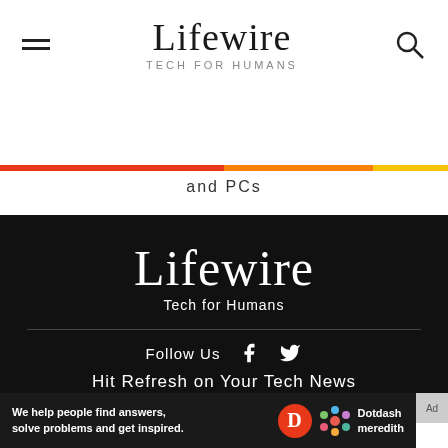Lifewire TECH FOR HUMANS
and PCs
[Figure (logo): Lifewire logo on black background with text 'Tech for Humans']
Follow Us
Hit Refresh on Your Tech News
We help people find answers, solve problems and get inspired. Dotdash meredith